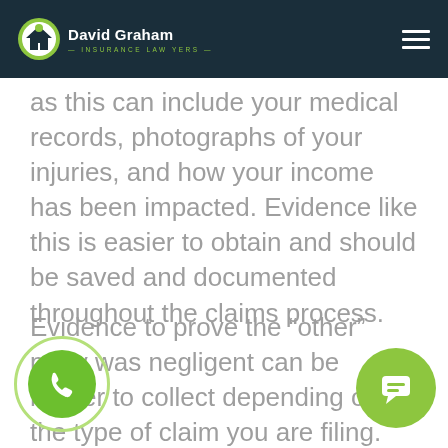David Graham Insurance Lawyers
as this can include your medical records, photographs of your injuries, and how your income has been impacted. Evidence like this is easier to obtain and should be saved and documented throughout the claims process.
Evidence to prove the “other” party was negligent can be harder to collect depending on the type of claim you are filing. For car